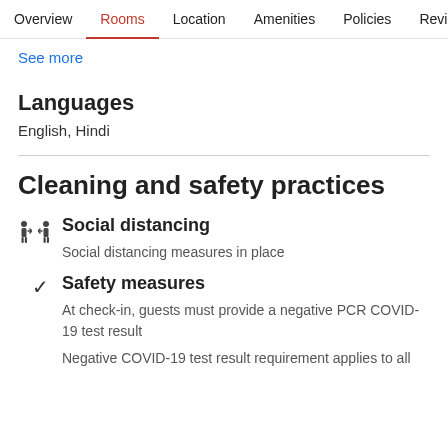Overview  Rooms  Location  Amenities  Policies  Reviews
See more
Languages
English, Hindi
Cleaning and safety practices
Social distancing
Social distancing measures in place
Safety measures
At check-in, guests must provide a negative PCR COVID-19 test result
Negative COVID-19 test result requirement applies to all